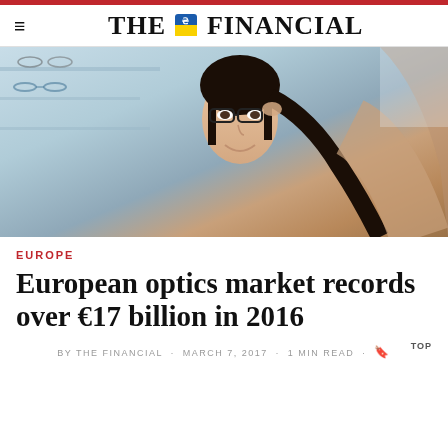THE FINANCIAL
[Figure (photo): Woman trying on glasses at an optician shop, looking in a mirror and smiling]
EUROPE
European optics market records over €17 billion in 2016
BY THE FINANCIAL · MARCH 7, 2017 · 1 MIN READ · TOP